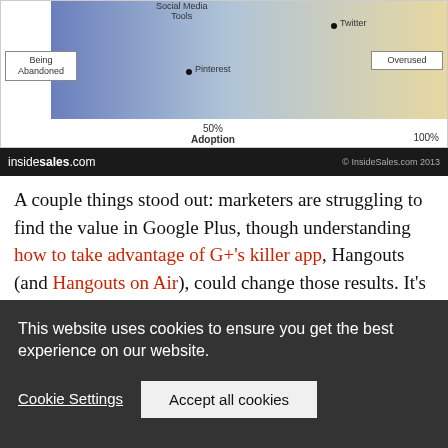[Figure (other): Bottom portion of a scatter/quadrant chart showing social media tool adoption vs effectiveness. Labels visible: 'Being Abandoned', 'Overused', 'Pinterest' (dot), 'Twitter' (dot), '50% Adoption', '100%'. Background gradient from blue-purple to yellow. Tools label at top.]
[Figure (logo): insidesales.com logo bar, black background, with copyright text '© InsideSales.com 2013']
A couple things stood out: marketers are struggling to find the value in Google Plus, though understanding how to take advantage of G+'s killer app, Hangouts (and Hangouts on Air), could change those results. It's not a surprise to see Pinterest's lack of traction in this particular B2B survey, though distinguishing between tossing up some photos versus a savvy use of Pinterest like Get Satisfaction
This website uses cookies to ensure you get the best experience on our website.
Cookie Settings
Accept all cookies